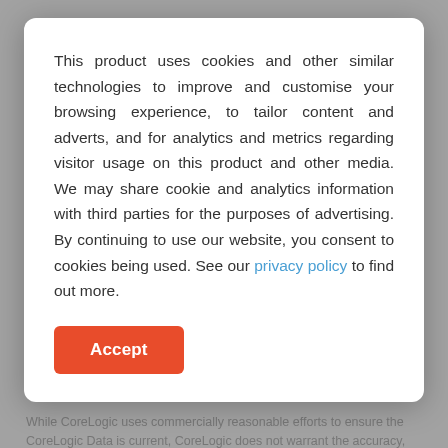property of CoreLogic. All rights reserved.
The CoreLogic Data provided in this publication is of a general nature and should not be construed as specific advice or relied upon in lieu of appropriate professional advice.
While CoreLogic uses commercially reasonable efforts to ensure the CoreLogic Data is current, CoreLogic does not warrant the accuracy, currency or completeness of the CoreLogic Data and to the full extent permitted by law excludes all loss or damage howsoever arising (including through negligence) in connection with the
This product uses cookies and other similar technologies to improve and customise your browsing experience, to tailor content and adverts, and for analytics and metrics regarding visitor usage on this product and other media. We may share cookie and analytics information with third parties for the purposes of advertising. By continuing to use our website, you consent to cookies being used. See our privacy policy to find out more.
Accept